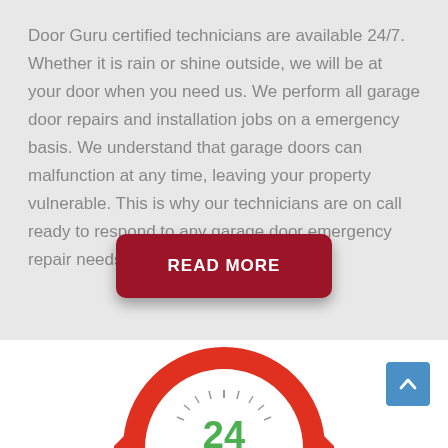Door Guru certified technicians are available 24/7. Whether it is rain or shine outside, we will be at your door when you need us. We perform all garage door repairs and installation jobs on a emergency basis. We understand that garage doors can malfunction at any time, leaving your property vulnerable. This is why our technicians are on call ready to respond to any garage door emergency repair needs!
[Figure (other): Dark red rounded button with white bold text reading READ MORE]
[Figure (illustration): Partial view of a circular clock/24-hour service icon with red circular arrow and green numerals at the bottom of the page]
[Figure (other): Blue square scroll-to-top button with white upward chevron arrow in bottom right corner]